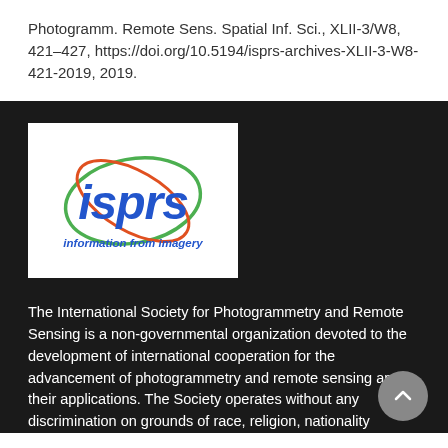Photogramm. Remote Sens. Spatial Inf. Sci., XLII-3/W8, 421–427, https://doi.org/10.5194/isprs-archives-XLII-3-W8-421-2019, 2019.
[Figure (logo): ISPRS logo — blue italic text 'isprs' with green ellipse and red/orange orbital ellipse around it, tagline 'information from imagery' in blue italic below]
The International Society for Photogrammetry and Remote Sensing is a non-governmental organization devoted to the development of international cooperation for the advancement of photogrammetry and remote sensing and their applications. The Society operates without any discrimination on grounds of race, religion, nationality